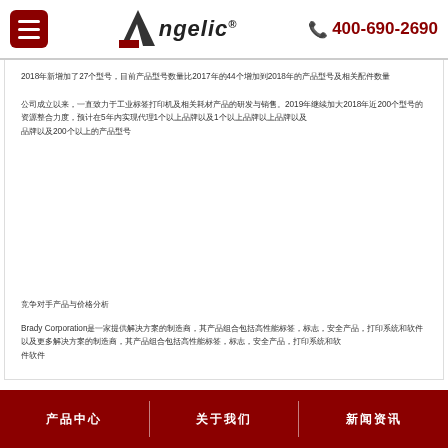Angelic® 400-690-2690
2018年新增加了27个型号，目前产品型号数量比2017年的44个增加到2018年的产品型号及相关配件数量
公司成立以来，一直致力于工业标签打印机及相关耗材产品的研发与销售。2019年继续加大2018年近200个型号的资源整合力度，预计在5年内实现代理1个以上品牌以及200个以上的产品型号
竞争对手产品与价格分析
Brady Corporation是一家提供解决方案的制造商，其产品组合包括高性能标签，标志，安全产品，打印系统和软件
产品中心   关于我们   新闻资讯